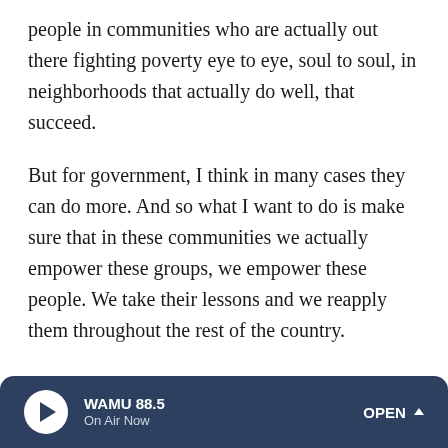people in communities who are actually out there fighting poverty eye to eye, soul to soul, in neighborhoods that actually do well, that succeed.
But for government, I think in many cases they can do more. And so what I want to do is make sure that in these communities we actually empower these groups, we empower these people. We take their lessons and we reapply them throughout the rest of the country.
[The] violence-free zone in Milwaukee is now been applied in Racine, Wis., which is ... having mentors from former gang members. People who had hard knocks in life got rehabilitated going into schools. They have credibility and they're helping young people avoid the mistakes that they...
WAMU 88.5 On Air Now OPEN